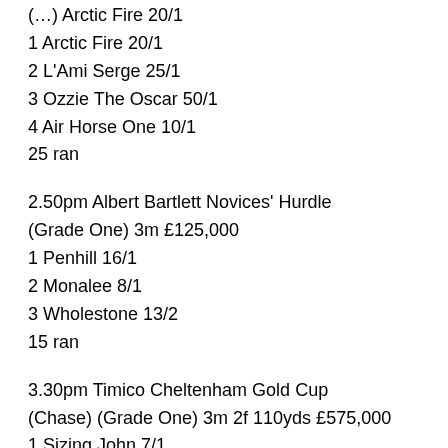(...) Arctic Fire 20/1, L'Ami Serge 25/1, Ozzie The Oscar 50/1, Air Horse One 10/1, 25 ran
1 Arctic Fire 20/1
2 L'Ami Serge 25/1
3 Ozzie The Oscar 50/1
4 Air Horse One 10/1
25 ran
2.50pm Albert Bartlett Novices' Hurdle (Grade One) 3m £125,000
1 Penhill 16/1
2 Monalee 8/1
3 Wholestone 13/2
15 ran
3.30pm Timico Cheltenham Gold Cup (Chase) (Grade One) 3m 2f 110yds £575,000
1 Sizing John 7/1
2 Minella Rocco 18/1
3 Native River 7/2